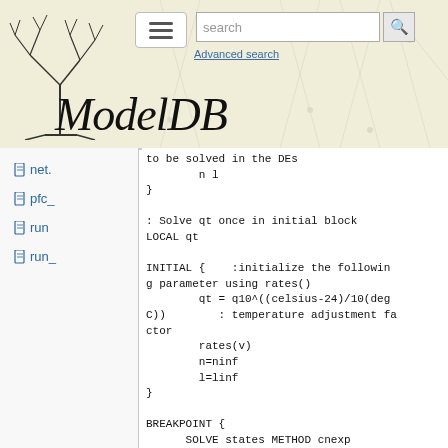ModelDB
net.
pfc_
run
run_
to be solved in the DEs
    n l
}

: Solve qt once in initial block
LOCAL qt

INITIAL {    :initialize the following parameter using rates()
        qt = q10^((celsius-24)/10(degC))        : temperature adjustment factor
        rates(v)
        n=ninf
        l=linf
}

BREAKPOINT {
    SOLVE states METHOD cnexp
:   ik = gkabar*n*l*(v+70)